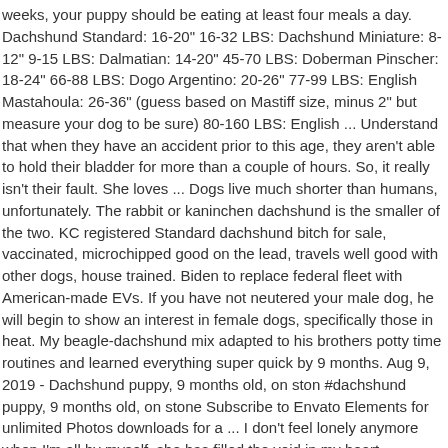weeks, your puppy should be eating at least four meals a day. Dachshund Standard: 16-20" 16-32 LBS: Dachshund Miniature: 8-12" 9-15 LBS: Dalmatian: 14-20" 45-70 LBS: Doberman Pinscher: 18-24" 66-88 LBS: Dogo Argentino: 20-26" 77-99 LBS: English Mastahoula: 26-36" (guess based on Mastiff size, minus 2" but measure your dog to be sure) 80-160 LBS: English ... Understand that when they have an accident prior to this age, they aren't able to hold their bladder for more than a couple of hours. So, it really isn't their fault. She loves ... Dogs live much shorter than humans, unfortunately. The rabbit or kaninchen dachshund is the smaller of the two. KC registered Standard dachshund bitch for sale, vaccinated, microchipped good on the lead, travels well good with other dogs, house trained. Biden to replace federal fleet with American-made EVs. If you have not neutered your male dog, he will begin to show an interest in female dogs, specifically those in heat. My beagle-dachshund mix adapted to his brothers potty time routines and learned everything super quick by 9 months. Aug 9, 2019 - Dachshund puppy, 9 months old, on ston #dachshund puppy, 9 months old, on stone Subscribe to Envato Elements for unlimited Photos downloads for a ... I don't feel lonely anymore when I'm all by myself, she has filled the void in my heart . Puppies have an especially fast metabolism, so they should be given 3-4